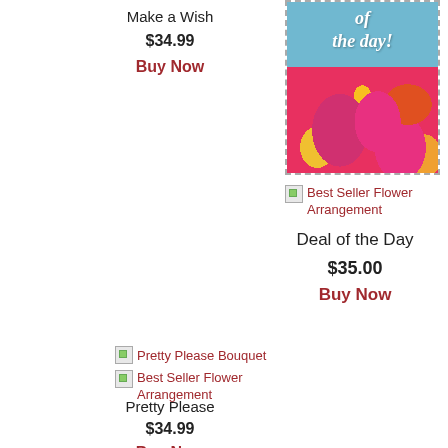Make a Wish
$34.99
Buy Now
[Figure (photo): Flower arrangement photo with blue sky top and pink/orange/yellow flowers, with dashed border. Labeled 'of the day!']
Best Seller Flower Arrangement
Deal of the Day
$35.00
Buy Now
Pretty Please Bouquet
Best Seller Flower Arrangement
Pretty Please
$34.99
Buy Now